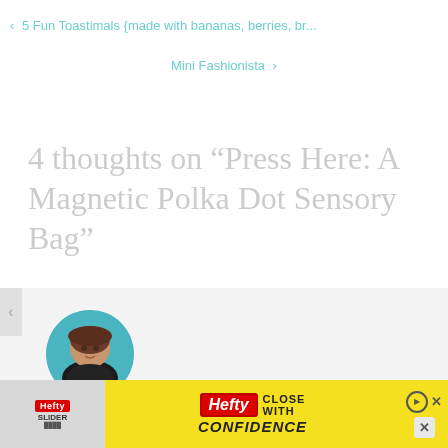< 5 Fun Toastimals {made with bananas, berries, br...
Mini Fashionista >
4 thoughts on “Press Here: A Magnetic Polka Dot Sensory Bag”
[Figure (photo): Circular avatar photo of a woman named Georgina with brown hair against a teal background]
Georgina says:
[Figure (infographic): Hefty Slider advertisement banner with yellow background, Hefty logo, and CLOSE WITH CONFIDENCE text]